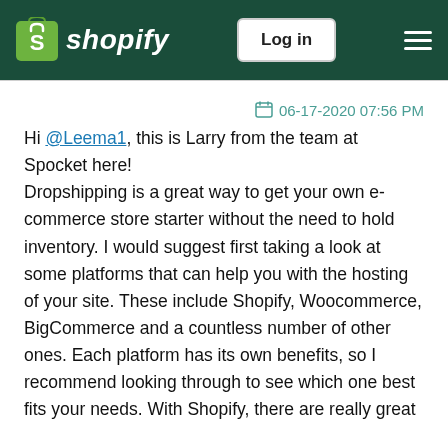shopify | Log in
06-17-2020 07:56 PM
Hi @Leema1, this is Larry from the team at Spocket here! Dropshipping is a great way to get your own e-commerce store starter without the need to hold inventory. I would suggest first taking a look at some platforms that can help you with the hosting of your site. These include Shopify, Woocommerce, BigCommerce and a countless number of other ones. Each platform has its own benefits, so I recommend looking through to see which one best fits your needs. With Shopify, there are really great